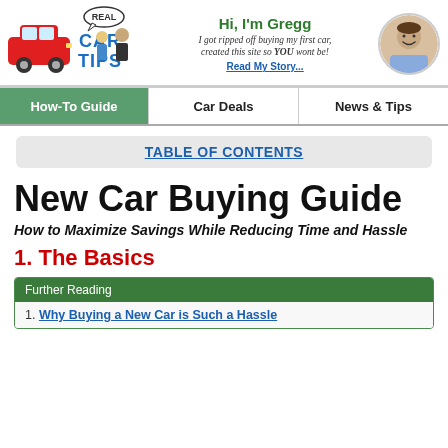[Figure (logo): Real Car Tips logo with cartoon characters and a red car]
Hi, I'm Gregg
I got ripped off buying my first car, created this site so YOU wont be!
Read My Story...
[Figure (photo): Circular avatar photo of Gregg]
How-To Guide
Car Deals
News & Tips
TABLE OF CONTENTS
New Car Buying Guide
How to Maximize Savings While Reducing Time and Hassle
1. The Basics
Further Reading
1. Why Buying a New Car is Such a Hassle